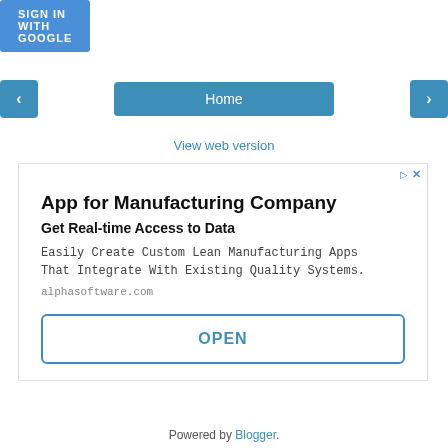[Figure (screenshot): SIGN IN WITH GOOGLE button, blue background, white text]
[Figure (screenshot): Navigation row with left arrow button, Home button, and right arrow button, all in teal/blue]
View web version
[Figure (screenshot): Advertisement box: App for Manufacturing Company - Get Real-time Access to Data. Easily Create Custom Lean Manufacturing Apps That Integrate With Existing Quality Systems. alphasoftware.com. OPEN button.]
Powered by Blogger.